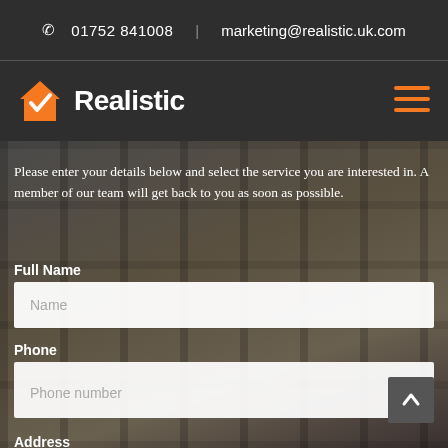📞 01752 841008  |  marketing@realistic.uk.com
[Figure (logo): Realistic logo: orange house with checkmark, white bold text 'Realistic']
Please enter your details below and select the service you are interested in. A member of our team will get back to you as soon as possible.
Full Name
Name (placeholder)
Phone
Phone number (placeholder)
Address